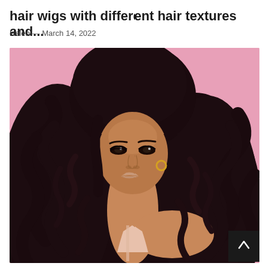hair wigs with different hair textures and...
Helen — March 14, 2022
[Figure (photo): A woman with long, voluminous deep-wave curly dark hair wearing a pink/white outfit, posed against a pink background. She has dramatic eye makeup and gold hoop earrings. A dark scroll-up button arrow is visible in the bottom-right corner of the image.]